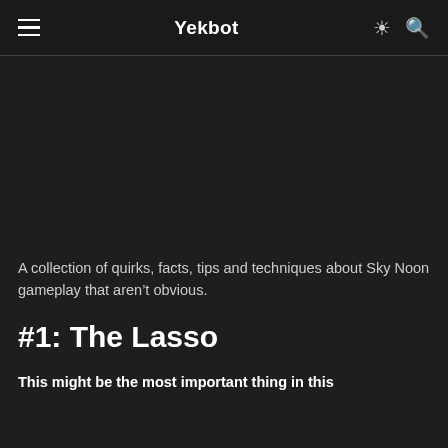Yekbot
[Figure (other): Dark image area placeholder for Sky Noon gameplay screenshot]
A collection of quirks, facts, tips and techniques about Sky Noon gameplay that aren’t obvious.
#1: The Lasso
This might be the most important thing in this